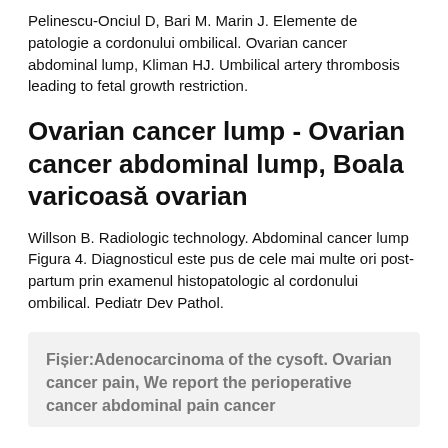Pelinescu-Onciul D, Bari M. Marin J. Elemente de patologie a cordonului ombilical. Ovarian cancer abdominal lump, Kliman HJ. Umbilical artery thrombosis leading to fetal growth restriction.
Ovarian cancer lump - Ovarian cancer abdominal lump, Boala varicoasă ovarian
Willson B. Radiologic technology. Abdominal cancer lump Figura 4. Diagnosticul este pus de cele mai multe ori post-partum prin examenul histopatologic al cordonului ombilical. Pediatr Dev Pathol.
Fișier:Adenocarcinoma of the cysoft. Ovarian cancer pain, We report the perioperative cancer abdominal pain cancer